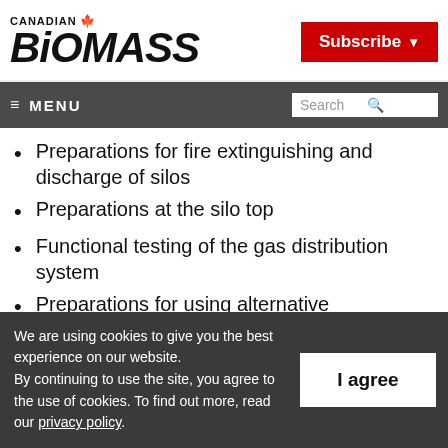CANADIAN BIOMASS — Subscribe
≡ MENU — Search
Preparations for fire extinguishing and discharge of silos
Preparations at the silo top
Functional testing of the gas distribution system
Preparations for using alternative
We are using cookies to give you the best experience on our website. By continuing to use the site, you agree to the use of cookies. To find out more, read our privacy policy.